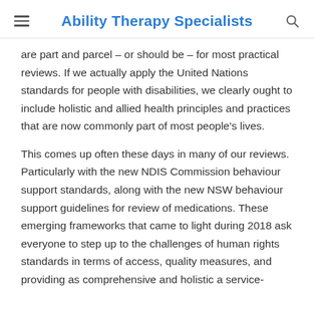Ability Therapy Specialists
are part and parcel – or should be – for most practical reviews. If we actually apply the United Nations standards for people with disabilities, we clearly ought to include holistic and allied health principles and practices that are now commonly part of most people's lives.
This comes up often these days in many of our reviews. Particularly with the new NDIS Commission behaviour support standards, along with the new NSW behaviour support guidelines for review of medications. These emerging frameworks that came to light during 2018 ask everyone to step up to the challenges of human rights standards in terms of access, quality measures, and providing as comprehensive and holistic a service-